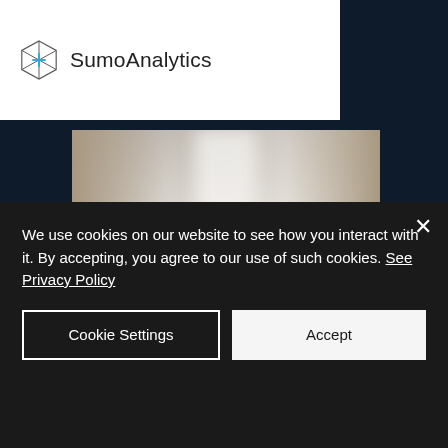[Figure (logo): SumoAnalytics logo: geometric polyhedron icon with teal accent followed by 'SumoAnalytics' text in dark gray]
[Figure (photo): Blurred retail store aisle with shelves, light-colored products, overhead lighting visible in the center]
Sumo Analytics' Assortment Optimisation technology allows retailers to match each location's product selection to customer preferences and, consequently, incre…
We use cookies on our website to see how you interact with it. By accepting, you agree to our use of such cookies. See Privacy Policy
Cookie Settings
Accept